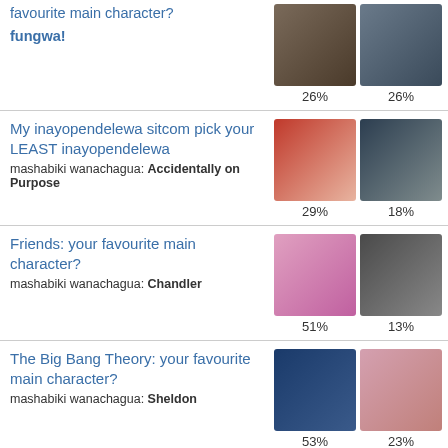favourite main character? fungwa!
My inayopendelewa sitcom pick your LEAST inayopendelewa
Friends: your favourite main character?
The Big Bang Theory: your favourite main character?
TV 20in20 Round 34 - Artist's Choice. (Vote for the best SET NOT inayopendelewa TV onyesha au USER - Full Sets in Comments)